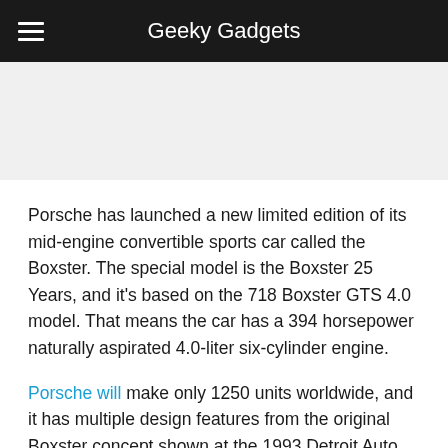Geeky Gadgets
[Figure (photo): Image placeholder area for Porsche Boxster article]
Porsche has launched a new limited edition of its mid-engine convertible sports car called the Boxster. The special model is the Boxster 25 Years, and it's based on the 718 Boxster GTS 4.0 model. That means the car has a 394 horsepower naturally aspirated 4.0-liter six-cylinder engine.
Porsche will make only 1250 units worldwide, and it has multiple design features from the original Boxster concept shown at the 1993 Detroit Auto Show. Porsche says that since the Boxster launched, it has produced 357,000 units. The car is GT Silver Metallic with Neodyme wheels and accents, which is a copper color.
The interior is Bordeaux Red with a redmos...